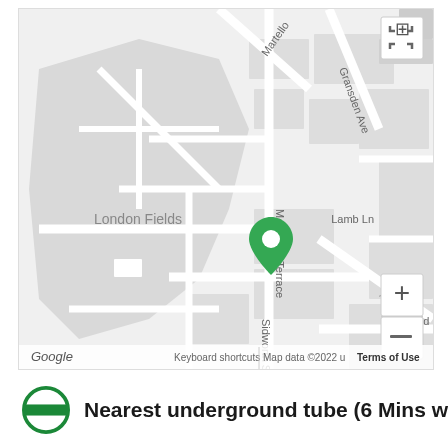[Figure (map): Google Maps street map centered on Mentmore Terrace / Sidworth St area in London Fields, Hackney. Shows streets including Martello, Mentmore Terrace, Gransden Ave, Lamb Ln, Sidworth St, A107, Tudor Rd. A green location pin is placed at the intersection of Mentmore Terrace and Sidworth St. Map controls (fullscreen, zoom +/-) are visible. Google logo and attribution shown at bottom.]
Nearest underground tube (6 Mins walk)